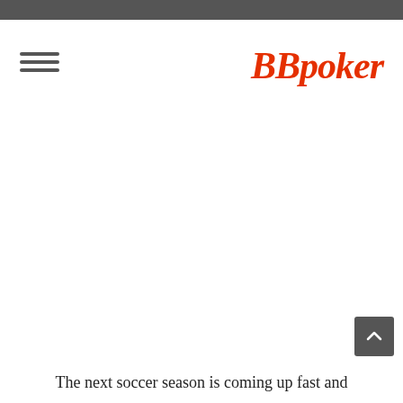[Figure (logo): BBpoker logo in red italic serif font]
The next soccer season is coming up fast and